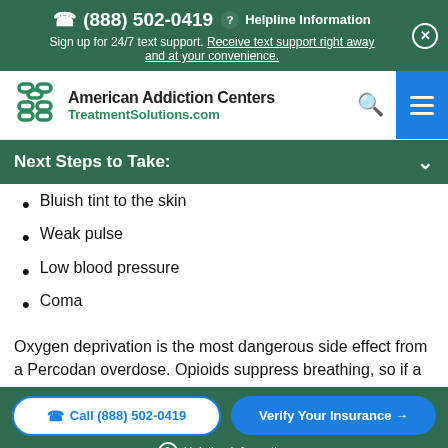(888) 502-0419  ? Helpline Information
Sign up for 24/7 text support. Receive text support right away and at your convenience.
[Figure (logo): American Addiction Centers TreatmentSolutions.com logo with green chain-link style icon]
Next Steps to Take:
Bluish tint to the skin
Weak pulse
Low blood pressure
Coma
Oxygen deprivation is the most dangerous side effect from a Percodan overdose. Opioids suppress breathing, so if a
Call (888) 502-0419   Verify Your Insurance →
? Helpline Information